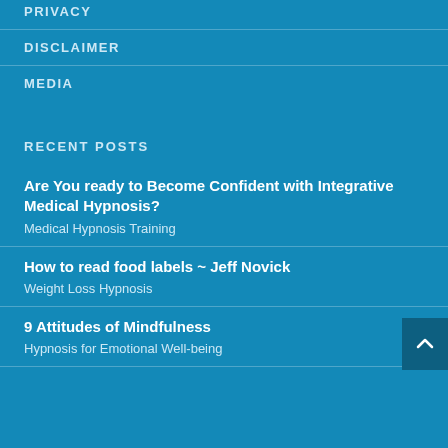PRIVACY
DISCLAIMER
MEDIA
RECENT POSTS
Are You ready to Become Confident with Integrative Medical Hypnosis?
Medical Hypnosis Training
How to read food labels ~ Jeff Novick
Weight Loss Hypnosis
9 Attitudes of Mindfulness
Hypnosis for Emotional Well-being